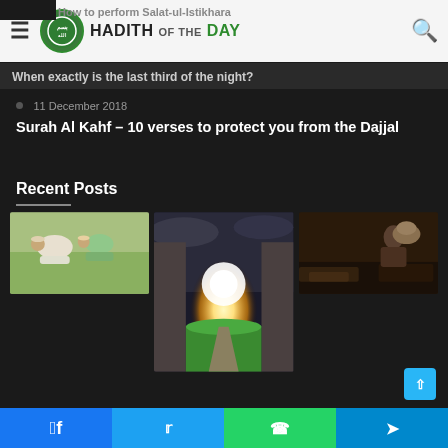How to perform Salat-ul-Istikhara | When exactly is the last third of the night?
[Figure (logo): Hadith of the Day logo with green circular emblem and text]
11 December 2018
Surah Al Kahf – 10 verses to protect you from the Dajjal
Recent Posts
[Figure (photo): People praying/bowing in Islamic prayer (sujood), two figures in white and green]
[Figure (photo): Dramatic archway with bright light shining through, leading to green field]
[Figure (photo): Person carrying a large sack in dark surroundings]
[Figure (photo): Red flowers and green leaves against blue sky]
[Figure (photo): Woman in hijab smiling with a baby]
[Figure (photo): Young boy holding a cup]
Facebook | Twitter | WhatsApp | Telegram